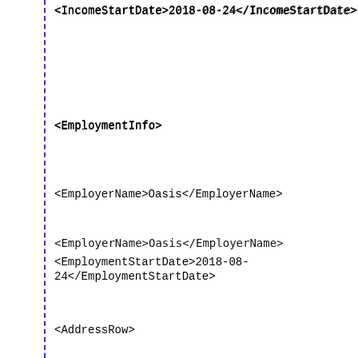<IncomeStartDate>2018-08-24</IncomeStartDate>
<EmploymentInfo>
<EmployerName>Oasis</EmployerName>
<EmploymentStartDate>2018-08-24</EmploymentStartDate>
<AddressRow>
<AddressLine1>2054 Vista Parkway #300</AddressLine1>
<City>West Palm Beach</City>